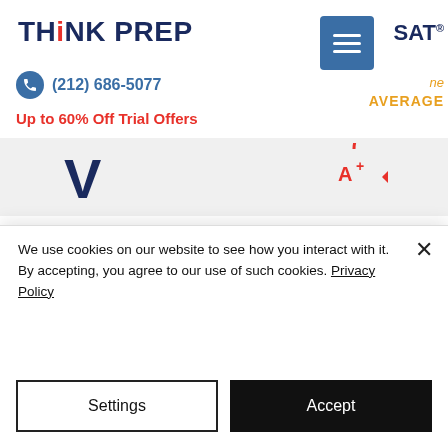THiNK PREP | (212) 686-5077 | Up to 60% Off Trial Offers
[Figure (logo): Think Prep logo with blue V checkmark and A+ grade badge on gray banner strip]
Ethan Woo · Sep 14, 2017 · 2 min
Back to School Priorities
To help students stay afloat during the rush of
We use cookies on our website to see how you interact with it. By accepting, you agree to our use of such cookies. Privacy Policy